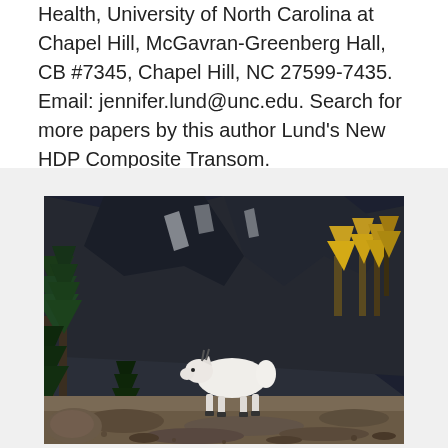Health, University of North Carolina at Chapel Hill, McGavran-Greenberg Hall, CB #7345, Chapel Hill, NC 27599-7435. Email: jennifer.lund@unc.edu. Search for more papers by this author Lund's New HDP Composite Transom.
[Figure (photo): A white mountain goat standing on rocky terrain in a mountainous landscape with dark rocky cliffs, green and yellow autumn trees (larches), in a wilderness setting.]